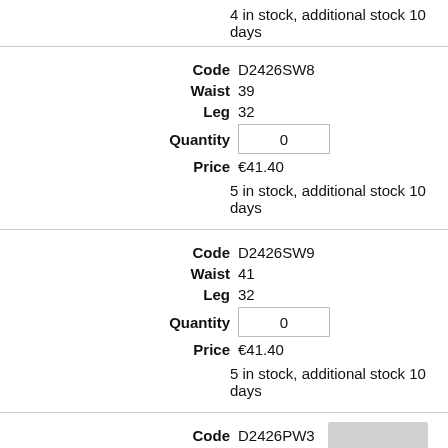4 in stock, additional stock 10 days
Code D2426SW8
Waist 39
Leg 32
Quantity 0
Price €41.40
5 in stock, additional stock 10 days
Code D2426SW9
Waist 41
Leg 32
Quantity 0
Price €41.40
5 in stock, additional stock 10 days
Code D2426PW3
Waist 31
Leg 34
Quantity 0